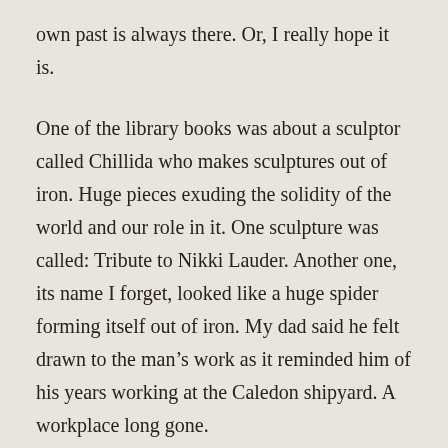own past is always there. Or, I really hope it is.
One of the library books was about a sculptor called Chillida who makes sculptures out of iron. Huge pieces exuding the solidity of the world and our role in it. One sculpture was called: Tribute to Nikki Lauder. Another one, its name I forget, looked like a huge spider forming itself out of iron. My dad said he felt drawn to the man’s work as it reminded him of his years working at the Caledon shipyard. A workplace long gone.
Earlier this week, I was thinking of another lost industry. Jute. I was heading through the Overgate